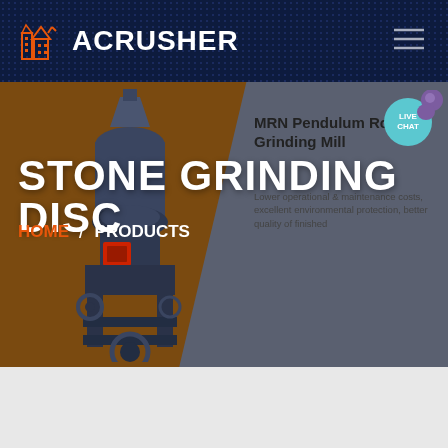[Figure (logo): ACRUSHER brand logo with orange building/crusher icon on dark navy background header bar]
[Figure (screenshot): Product page hero section showing MRN Pendulum Roller Grinding Mill machine image on brown/grey split background]
STONE GRINDING DISC
MRN Pendulum Roller Grinding Mill
Lower operational & maintenance costs, excellent environmental protection, better quality of finished
HOME / PRODUCTS